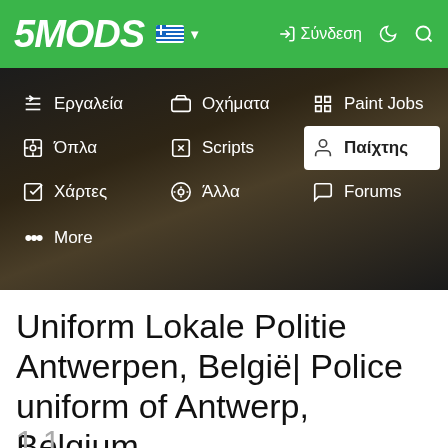5MODS navigation bar with logo, Greek flag, Σύνδεση login, moon and search icons
[Figure (screenshot): 5Mods website navigation dropdown menu showing categories: Εργαλεία, Όπλα, Χάρτες, More, Οχήματα, Scripts, Άλλα, Paint Jobs, Παίχτης (highlighted), Forums — over a dark blurry background]
Uniform Lokale Politie Antwerpen, België| Police uniform of Antwerp, Belgium
1.1